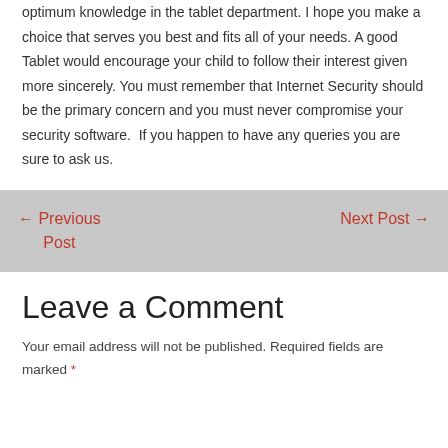optimum knowledge in the tablet department. I hope you make a choice that serves you best and fits all of your needs. A good Tablet would encourage your child to follow their interest given more sincerely. You must remember that Internet Security should be the primary concern and you must never compromise your security software. If you happen to have any queries you are sure to ask us.
← Previous Post
Next Post →
Leave a Comment
Your email address will not be published. Required fields are marked *